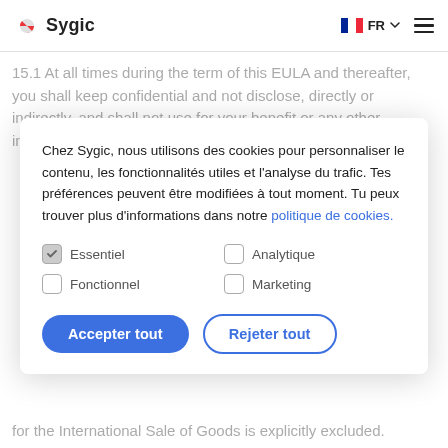Sygic — FR navigation header
15.1 At all times during the term of this EULA and thereafter, you shall keep confidential and not disclose, directly or indirectly, and shall not use for your benefit or any other individual or entity any c[onfidential information of Sygic or any of its third-party data]
R[...] m[...] d[...] t[...]
Chez Sygic, nous utilisons des cookies pour personnaliser le contenu, les fonctionnalités utiles et l'analyse du trafic. Tes préférences peuvent être modifiées à tout moment. Tu peux trouver plus d'informations dans notre politique de cookies.
Essentiel (checked)
Analytique (unchecked)
Fonctionnel (unchecked)
Marketing (unchecked)
Accepter tout   Rejeter tout
for the International Sale of Goods is explicitly excluded.